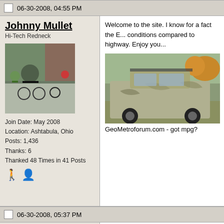06-30-2008, 04:55 PM
Johnny Mullet
Hi-Tech Redneck
[Figure (photo): Profile photo of user Johnny Mullet showing cyclists riding bikes]
Join Date: May 2008
Location: Ashtabula, Ohio
Posts: 1,436
Thanks: 6
Thanked 48 Times in 41 Posts
Welcome to the site. I know for a fact the E... conditions compared to highway. Enjoy you...
[Figure (photo): Photo of a silver/camouflage Geo Metro vehicle parked outdoors]
GeoMetroforum.com - got mpg?
06-30-2008, 05:37 PM
greenwar
EcoModding Lurker
Join Date: May 2008
Location: Minnesota
Posts: 29
Quote:
Originally Posted by ebacherville - cool love to see what hypermiling can... help LOADS in getting great MPG.. we... to 35.7 mpg... no mods except a scan...